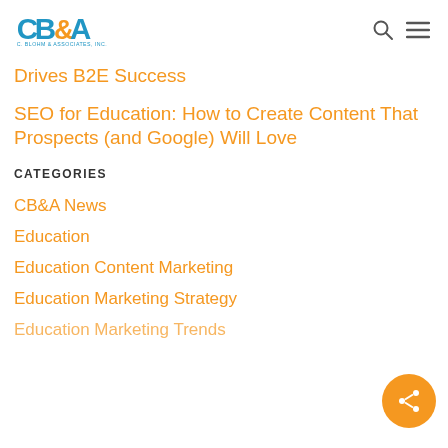CB&A C. Blohm & Associates, Inc.
Drives B2E Success
SEO for Education: How to Create Content That Prospects (and Google) Will Love
CATEGORIES
CB&A News
Education
Education Content Marketing
Education Marketing Strategy
Education Marketing Trends